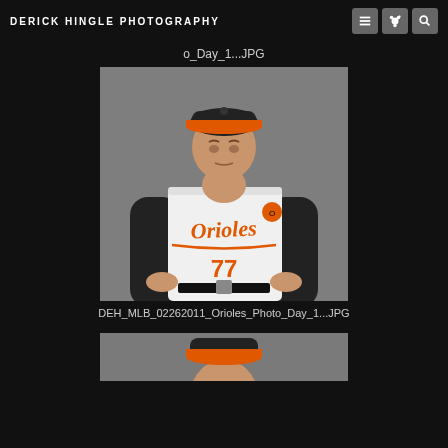DERICK HINGLE PHOTOGRAPHY
o_Day_1...JPG
[Figure (photo): Baseball player or manager wearing a white Baltimore Orioles jersey with the number 77, orange Orioles cap, hands on hips, posing in front of a gray background.]
DEH_MLB_02262011_Orioles_Photo_Day_1...JPG
[Figure (photo): Partial view of another baseball player in an Orioles uniform, only the top of their head and cap visible at the bottom of the page.]